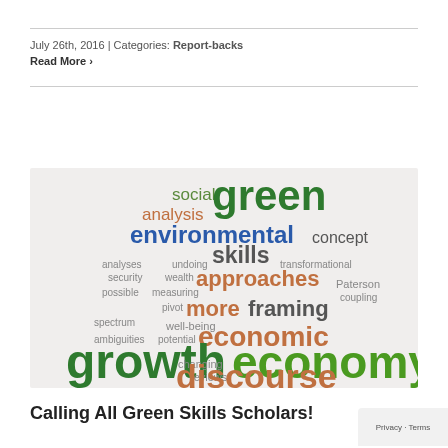July 26th, 2016  |  Categories: Report-backs
Read More ›
[Figure (infographic): Word cloud related to green economy and skills with words including: green, growth, economy, discourse, economic, environmental, approaches, framing, social, analysis, concept, skills, more, transformational, analyses, undoing, security, wealth, possible, measuring, pivot, spectrum, well-being, ambiguities, potential, coupling, Paterson, changing, reviews]
Calling All Green Skills Scholars!